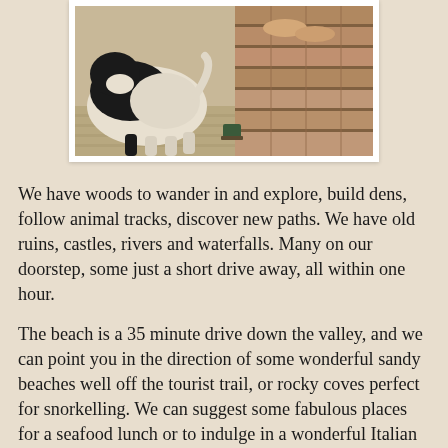[Figure (photo): Photo of a black and white dog on a tiled outdoor surface next to brick steps, with a person's bare feet visible on the steps. Image is in a white-bordered frame.]
We have woods to wander in and explore, build dens, follow animal tracks, discover new paths.  We have old ruins, castles, rivers and waterfalls.  Many on our doorstep, some just a short drive away, all within one hour.
The beach is a 35 minute drive down the valley, and we can point you in the direction of some wonderful sandy beaches well off the tourist trail, or rocky coves perfect for snorkelling.  We can suggest some fabulous places for a seafood lunch or to indulge in a wonderful Italian gelato.  Have a look at this link from our blog that explains a little more:  Places to Swim